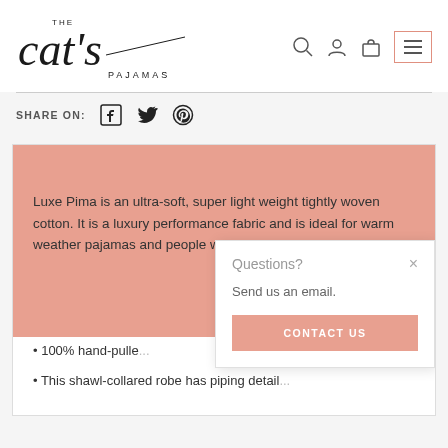[Figure (logo): The Cat's Pajamas logo in handwritten script style with 'PAJAMAS' in small caps]
[Figure (infographic): Navigation icons: search, user account, shopping bag, and hamburger menu button with pink/salmon border]
SHARE ON:
[Figure (infographic): Social share icons: Facebook, Twitter, Pinterest]
Luxe Pima is an ultra-soft, super light weight tightly woven cotton. It is a luxury performance fabric and is ideal for warm weather pajamas and people wanting a light...
100% hand-pulled...
This shawl-collared robe has piping detail...
Questions?
Send us an email.
CONTACT US